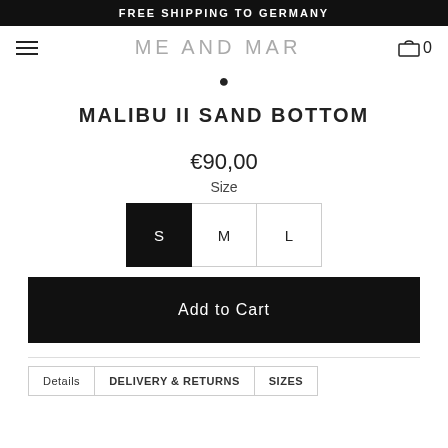FREE SHIPPING TO GERMANY
ME AND MAR
●
MALIBU II SAND BOTTOM
€90,00
Size
S  M  L
Add to Cart
Details  DELIVERY & RETURNS  SIZES